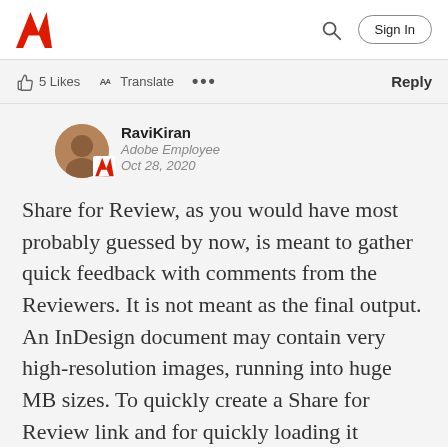Adobe logo, search icon, Sign In button
5 Likes   Translate   ...   Reply
RaviKiran
Adobe Employee
Oct 28, 2020
Share for Review, as you would have most probably guessed by now, is meant to gather quick feedback with comments from the Reviewers. It is not meant as the final output. An InDesign document may contain very high-resolution images, running into huge MB sizes. To quickly create a Share for Review link and for quickly loading it